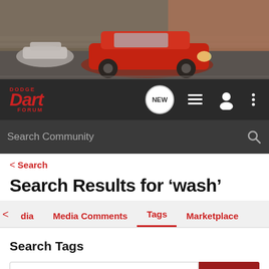[Figure (photo): Hero banner image of a red Dodge Dart driving on a road, with motion blur in the background, and another car visible on the left.]
[Figure (logo): Dodge Dart Forum logo in red italic text on dark background with navigation icons including a NEW chat bubble, a list icon, a user icon, and a three-dot menu icon.]
Search Community
< Search
Search Results for ‘wash’
< dia    Media Comments    Tags    Marketplace
Search Tags
X wash   Search